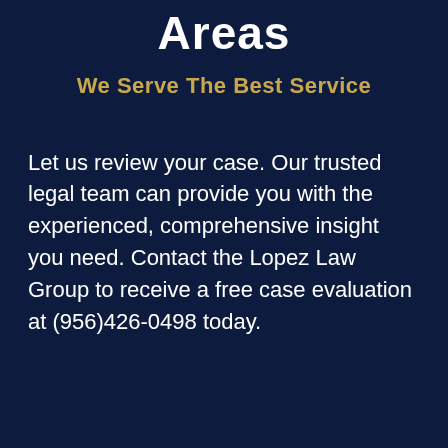Areas
We Serve The Best Service
Let us review your case. Our trusted legal team can provide you with the experienced, comprehensive insight you need. Contact the Lopez Law Group to receive a free case evaluation at (956)426-0498 today.